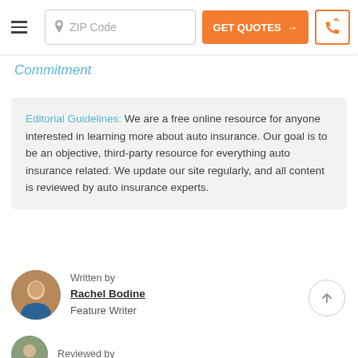ZIP Code | GET QUOTES → | phone
Commitment
Editorial Guidelines: We are a free online resource for anyone interested in learning more about auto insurance. Our goal is to be an objective, third-party resource for everything auto insurance related. We update our site regularly, and all content is reviewed by auto insurance experts.
Written by
Rachel Bodine
Feature Writer
Reviewed by